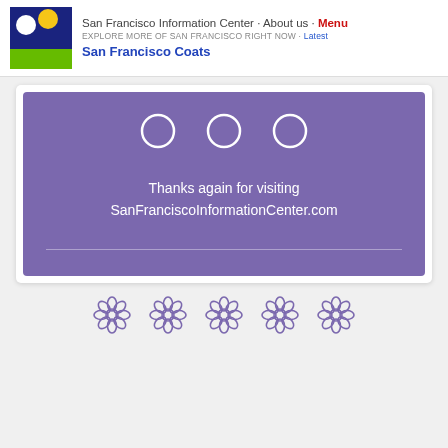San Francisco Information Center · About us · Menu
EXPLORE MORE OF SAN FRANCISCO RIGHT NOW · Latest
San Francisco Coats
[Figure (screenshot): Purple card with three white circle outlines at top, thank-you message in white text, and a faint horizontal divider line below]
Thanks again for visiting SanFranciscoInformationCenter.com
[Figure (illustration): Row of five decorative flower icons in purple/mauve outline style at the bottom of the page]